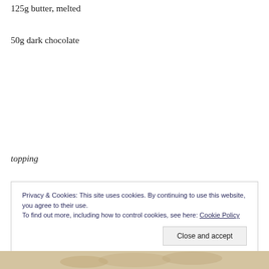125g butter, melted
50g dark chocolate
topping
1 cup glace cherries, finely snipped
¼ cup brown sugar
Privacy & Cookies: This site uses cookies. By continuing to use this website, you agree to their use.
To find out more, including how to control cookies, see here: Cookie Policy
[Figure (photo): Photo strip at the bottom of the page showing baked goods]